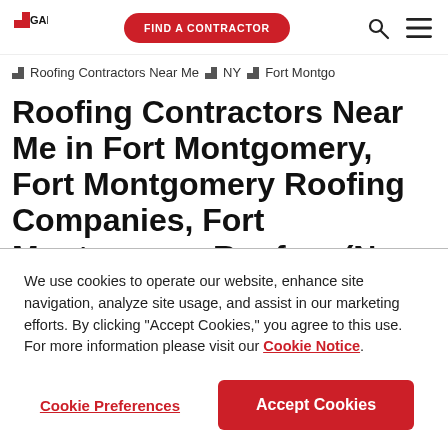GAF | FIND A CONTRACTOR
Roofing Contractors Near Me > NY > Fort Montgomery
Roofing Contractors Near Me in Fort Montgomery, Fort Montgomery Roofing Companies, Fort Montgomery Roofers (New York)
We use cookies to operate our website, enhance site navigation, analyze site usage, and assist in our marketing efforts. By clicking "Accept Cookies," you agree to this use. For more information please visit our Cookie Notice.
Cookie Preferences | Accept Cookies